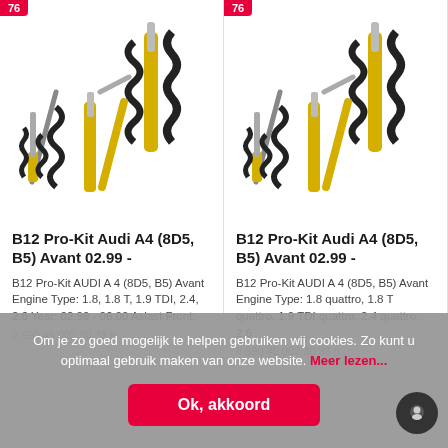[Figure (photo): B12 Pro-Kit suspension/coilover set with yellow shock absorbers and black coil springs for Audi A4]
B12 Pro-Kit Audi A4 (8D5, B5) Avant 02.99 -
B12 Pro-Kit AUDI A 4 (8D5, B5) Avant Engine Type: 1.8, 1.8 T, 1.9 TDI, 2.4, 2.6 Year: 02.99 - 06.00 Aslast Front:
// 590 45 002 30 33 b...
[Figure (photo): B12 Pro-Kit suspension/coilover set with yellow shock absorbers and black coil springs for Audi A4 quattro]
B12 Pro-Kit Audi A4 (8D5, B5) Avant 02.99 -
B12 Pro-Kit AUDI A 4 (8D5, B5) Avant Engine Type: 1.8 quattro, 1.8 T quattro, 1.9 TDI quattro, 2.4 quattro, 2.6
// 590 45 002 30 33 n...
Om je zo goed mogelijk te helpen gebruiken wij cookies. Zo kunt u optimaal gebruik maken van onze website. Meer lezen...
Ok, akkoord